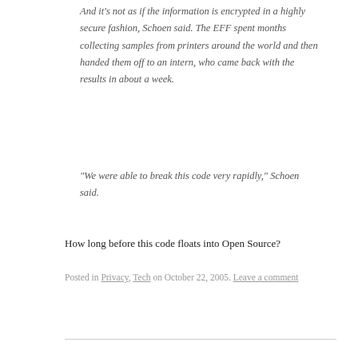And it's not as if the information is encrypted in a highly secure fashion, Schoen said. The EFF spent months collecting samples from printers around the world and then handed them off to an intern, who came back with the results in about a week.
“We were able to break this code very rapidly,” Schoen said.
How long before this code floats into Open Source?
Posted in Privacy, Tech on October 22, 2005. Leave a comment